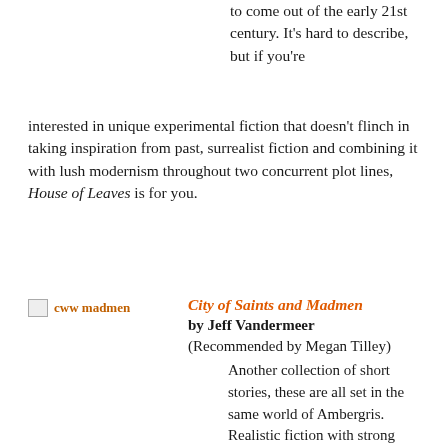to come out of the early 21st century. It's hard to describe, but if you're interested in unique experimental fiction that doesn't flinch in taking inspiration from past, surrealist fiction and combining it with lush modernism throughout two concurrent plot lines, House of Leaves is for you.
[Figure (illustration): Book cover image placeholder labeled 'cww madmen']
City of Saints and Madmen by Jeff Vandermeer (Recommended by Megan Tilley)
Another collection of short stories, these are all set in the same world of Ambergris. Realistic fiction with strong magical themes,